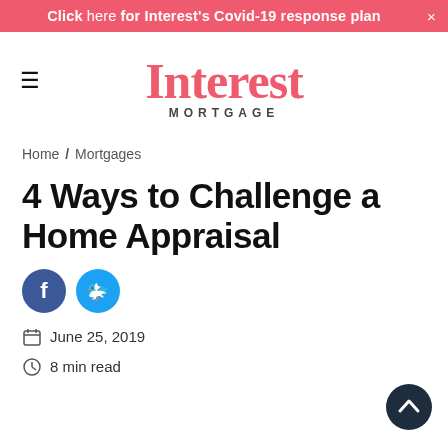Click here for Interest's Covid-19 response plan ×
[Figure (logo): Interest Mortgage logo with hamburger menu icon on the left]
Home / Mortgages
4 Ways to Challenge a Home Appraisal
[Figure (other): Facebook and Twitter social share icon buttons]
June 25, 2019
8 min read